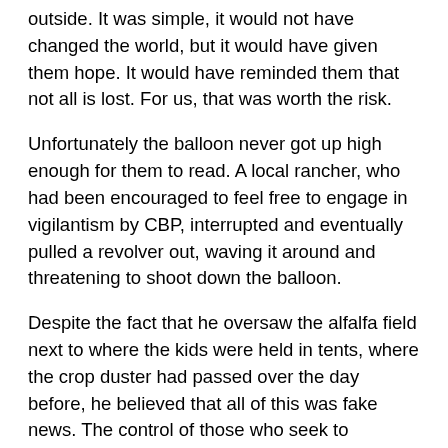outside. It was simple, it would not have changed the world, but it would have given them hope. It would have reminded them that not all is lost. For us, that was worth the risk.
Unfortunately the balloon never got up high enough for them to read. A local rancher, who had been encouraged to feel free to engage in vigilantism by CBP, interrupted and eventually pulled a revolver out, waving it around and threatening to shoot down the balloon.
Despite the fact that he oversaw the alfalfa field next to where the kids were held in tents, where the crop duster had passed over the day before, he believed that all of this was fake news. The control of those who seek to undermine the truth was so strong upon him, that he believed what he heard from the administration on Fox News rather than what he saw with his very own eyes. The pressure from CBP was so great on him that he was waving a revolver around a bunch of people simply holding a big balloon.